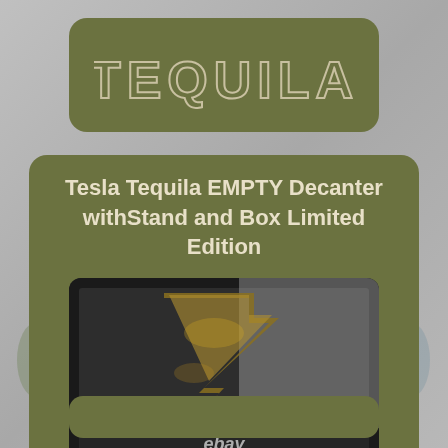TEQUILA
Tesla Tequila EMPTY Decanter withStand and Box Limited Edition
[Figure (photo): Tesla Tequila lightning bolt shaped decanter resting in its black foam-lined presentation box, viewed from above. The decanter is empty and amber/golden colored, shaped like the Tesla lightning bolt logo. A black metal stand is also visible in the box. An eBay watermark appears at the bottom of the photo.]